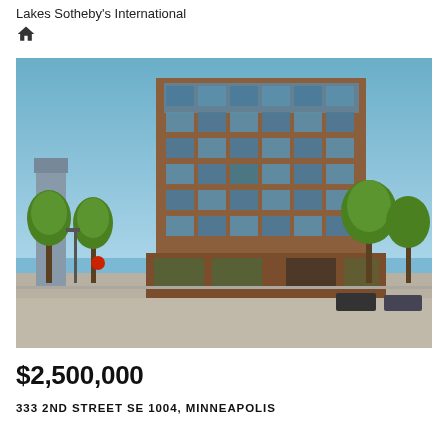Lakes Sotheby's International
[Figure (photo): Exterior photograph of a tall modern condominium building with brick and glass facade, green trees lining the street, blue sky background, urban street-level view.]
$2,500,000
333 2ND STREET SE 1004, MINNEAPOLIS